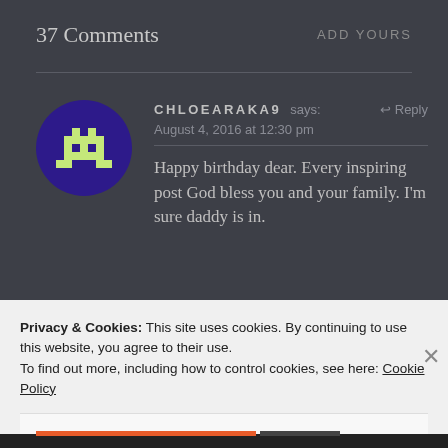37 Comments
ADD YOURS
CHLOEARAKA9 says:
August 4, 2016 at 12:30 pm
[Figure (illustration): Pixel art avatar of a space invader character on a purple circle background]
Happy birthday dear. Every inspiring post God bless you and your family. I'm sure daddy is in.
Privacy & Cookies: This site uses cookies. By continuing to use this website, you agree to their use.
To find out more, including how to control cookies, see here: Cookie Policy
Close and accept